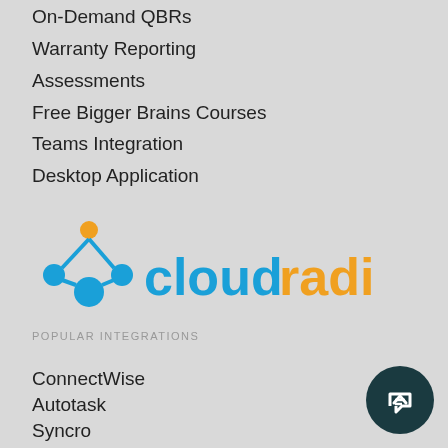On-Demand QBRs
Warranty Reporting
Assessments
Free Bigger Brains Courses
Teams Integration
Desktop Application
[Figure (logo): CloudRadial logo with orange and blue icon and wordmark]
POPULAR INTEGRATIONS
ConnectWise
Autotask
Syncro